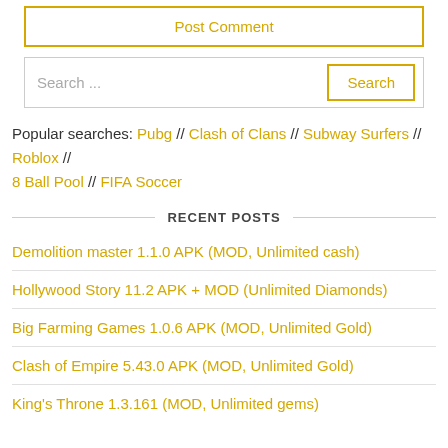Post Comment
Search ...
Popular searches: Pubg // Clash of Clans // Subway Surfers // Roblox // 8 Ball Pool // FIFA Soccer
RECENT POSTS
Demolition master 1.1.0 APK (MOD, Unlimited cash)
Hollywood Story 11.2 APK + MOD (Unlimited Diamonds)
Big Farming Games 1.0.6 APK (MOD, Unlimited Gold)
Clash of Empire 5.43.0 APK (MOD, Unlimited Gold)
King's Throne 1.3.161 (MOD, Unlimited gems)